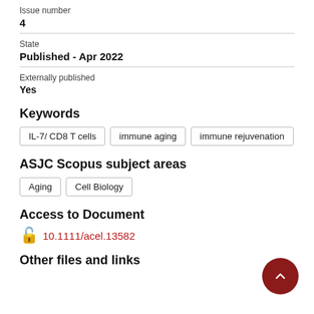Issue number
4
State
Published - Apr 2022
Externally published
Yes
Keywords
IL-7/ CD8 T cells
immune aging
immune rejuvenation
ASJC Scopus subject areas
Aging
Cell Biology
Access to Document
10.1111/acel.13582
Other files and links